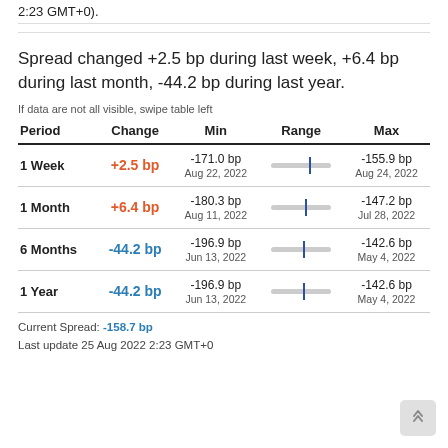2:23 GMT+0).
Spread changed +2.5 bp during last week, +6.4 bp during last month, -44.2 bp during last year.
If data are not all visible, swipe table left
| Period | Change | Min | Range | Max |
| --- | --- | --- | --- | --- |
| 1 Week | +2.5 bp | -171.0 bp
Aug 22, 2022 |  | -155.9 bp
Aug 24, 2022 |
| 1 Month | +6.4 bp | -180.3 bp
Aug 11, 2022 |  | -147.2 bp
Jul 28, 2022 |
| 6 Months | -44.2 bp | -196.9 bp
Jun 13, 2022 |  | -142.6 bp
May 4, 2022 |
| 1 Year | -44.2 bp | -196.9 bp
Jun 13, 2022 |  | -142.6 bp
May 4, 2022 |
Current Spread: -158.7 bp
Last update 25 Aug 2022 2:23 GMT+0